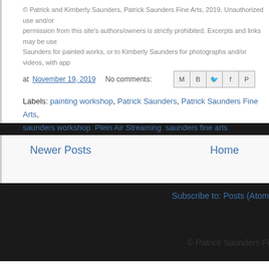© Patrick and Kimberly Saunders, Patrick Saunders Fine Arts, 2019. Unauthorized use and/or permission from this site's authors/owners is strictly prohibited. Excerpts and links may be used, Saunders for painted works, or to Kimberly Saunders for photographs and/or videos, with app
at November 19, 2019   No comments:
Labels: painting workshop, Patrick Saunders, Patrick Saunders Fine Arts, saunders workshop, Plein Air Streaming, saunders fine arts
Newer Posts
Home
Subscribe to: Posts (Atom
© Patrick Saunders Fi